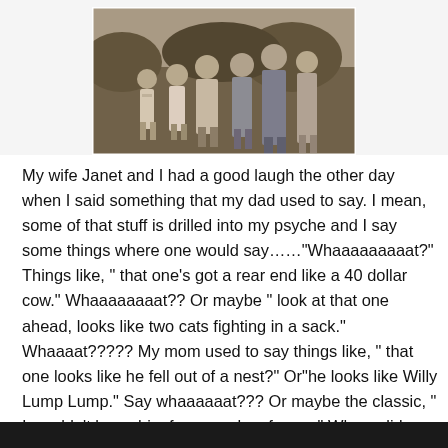[Figure (photo): Black and white vintage photograph showing a group of children and adults standing together outdoors, partially cropped at top]
My wife Janet and I had a good laugh the other day when I said something that my dad used to say. I mean, some of that stuff is drilled into my psyche and I say some things where one would say……"Whaaaaaaaaat?" Things like, " that one's got a rear end like a 40 dollar cow." Whaaaaaaaat?? Or maybe " look at that one ahead, looks like two cats fighting in a sack." Whaaaat????? My mom used to say things like, " that one looks like he fell out of a nest?" Or"he looks like Willy Lump Lump." Say whaaaaaat??? Or maybe the classic, " I wouldn't know him from a cake of soap." Where did they they get these sayings.
[Figure (photo): Bottom edge of another black and white photograph, mostly dark/black]